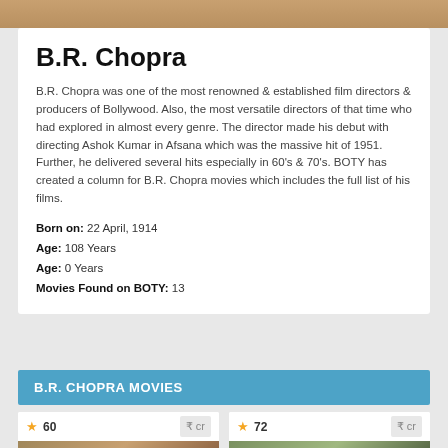[Figure (photo): Top image strip showing a person photo]
B.R. Chopra
B.R. Chopra was one of the most renowned & established film directors & producers of Bollywood. Also, the most versatile directors of that time who had explored in almost every genre. The director made his debut with directing Ashok Kumar in Afsana which was the massive hit of 1951. Further, he delivered several hits especially in 60's & 70's. BOTY has created a column for B.R. Chopra movies which includes the full list of his films.
Born on: 22 April, 1914
Age: 108 Years
Age: 0 Years
Movies Found on BOTY: 13
B.R. CHOPRA MOVIES
60  ₹ cr
72  ₹ cr